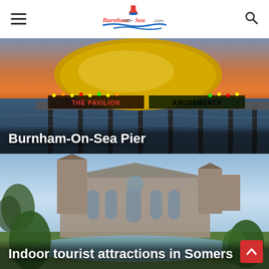Burnham-on-Sea.com
[Figure (photo): Photo of Burnham-On-Sea Pier at sunset, showing The Pavilion Amusements building with a golden dome lit up with neon lights, over the sea on stilts.]
Burnham-On-Sea Pier
[Figure (photo): Photo of a large Gothic cathedral (likely Wells Cathedral in Somerset) surrounded by trees and a pond, under a partly cloudy blue sky.]
Indoor tourist attractions in Somers…